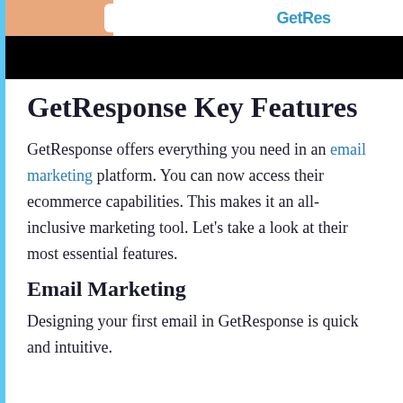[Figure (screenshot): GetResponse website screenshot showing logo text in blue on white background, with a peach/orange block on the left and black bar below]
GetResponse Key Features
GetResponse offers everything you need in an email marketing platform. You can now access their ecommerce capabilities. This makes it an all-inclusive marketing tool. Let's take a look at their most essential features.
Email Marketing
Designing your first email in GetResponse is quick and intuitive.